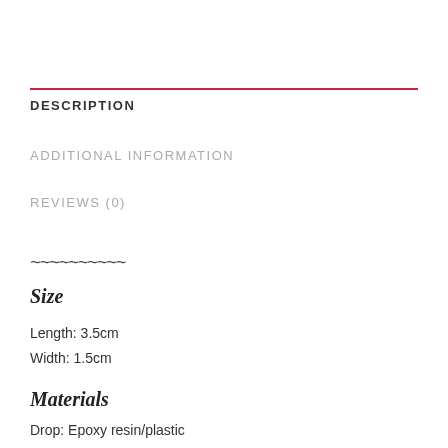DESCRIPTION
ADDITIONAL INFORMATION
REVIEWS (0)
~~~~~~~~~~
Size
Length: 3.5cm
Width: 1.5cm
Materials
Drop: Epoxy resin/plastic